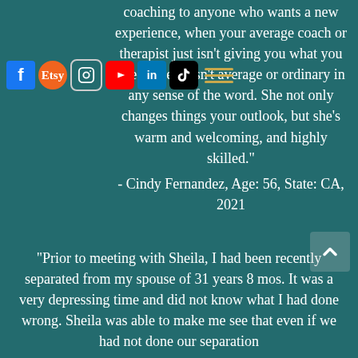coaching to anyone who wants a new experience, when your average coach or therapist just isn't giving you what you need. Sheila isn't average or ordinary in any sense of the word. She not only changes things your outlook, but she's warm and welcoming, and highly skilled."
- Cindy Fernandez, Age: 56, State: CA, 2021
"Prior to meeting with Sheila, I had been recently separated from my spouse of 31 years 8 mos. It was a very depressing time and did not know what I had done wrong. Sheila was able to make me see that even if we had not done our separation